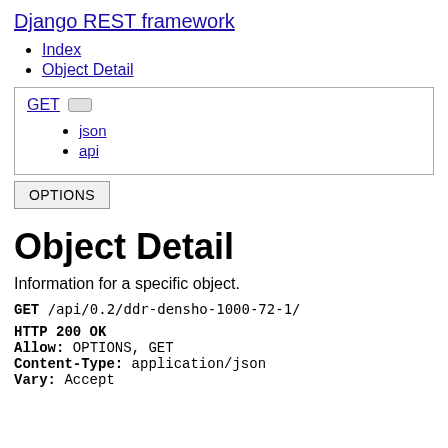Django REST framework
Index
Object Detail
GET [toggle]
json
api
OPTIONS
Object Detail
Information for a specific object.
GET /api/0.2/ddr-densho-1000-72-1/
HTTP 200 OK
Allow: OPTIONS, GET
Content-Type: application/json
Vary: Accept